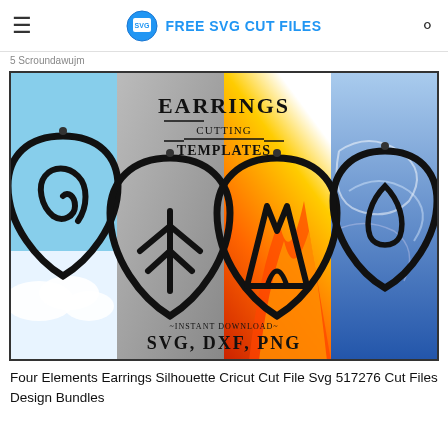FREE SVG CUT FILES
5 Scroundawujm
[Figure (illustration): Four Elements Earrings SVG cutting templates product image showing four teardrop-shaped earring silhouettes on four-panel background (sky, stone, fire, water) with text EARRINGS CUTTING TEMPLATES and INSTANT DOWNLOAD SVG DXF PNG]
Four Elements Earrings Silhouette Cricut Cut File Svg 517276 Cut Files Design Bundles